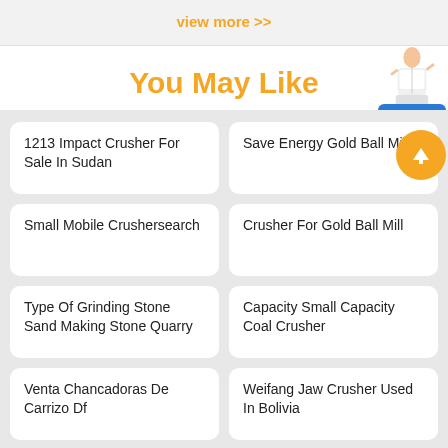view more >>
You May Like
1213 Impact Crusher For Sale In Sudan
Save Energy Gold Ball Mill
Small Mobile Crushersearch
Crusher For Gold Ball Mill
Type Of Grinding Stone Sand Making Stone Quarry
Capacity Small Capacity Coal Crusher
Venta Chancadoras De Carrizo Df
Weifang Jaw Crusher Used In Bolivia